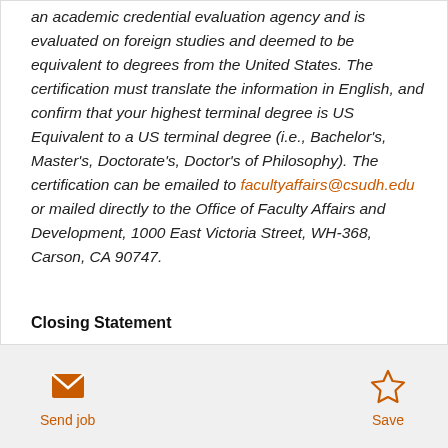an academic credential evaluation agency and is evaluated on foreign studies and deemed to be equivalent to degrees from the United States. The certification must translate the information in English, and confirm that your highest terminal degree is US Equivalent to a US terminal degree (i.e., Bachelor's, Master's, Doctorate's, Doctor's of Philosophy). The certification can be emailed to facultyaffairs@csudh.edu or mailed directly to the Office of Faculty Affairs and Development, 1000 East Victoria Street, WH-368, Carson, CA 90747.
Closing Statement
Send job
Save